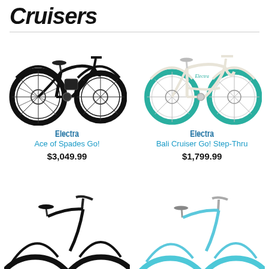Cruisers
[Figure (photo): Black Electra Ace of Spades Go! electric cruiser bicycle]
Electra
Ace of Spades Go!
$3,049.99
[Figure (photo): White and teal Electra Bali Cruiser Go! Step-Thru bicycle]
Electra
Bali Cruiser Go! Step-Thru
$1,799.99
[Figure (photo): Black cruiser bicycle, partial view at bottom left]
[Figure (photo): Teal/blue cruiser bicycle, partial view at bottom right]